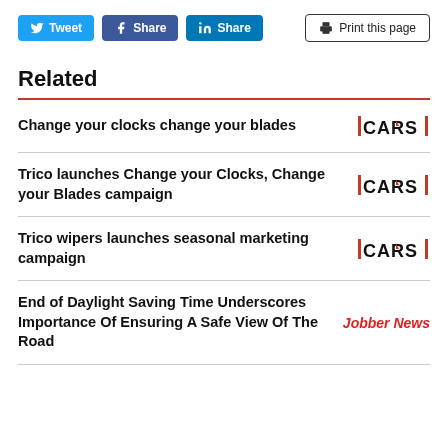[Figure (other): Social share buttons: Tweet (Twitter), Share (Facebook), Share (LinkedIn), and Print this page button]
Related
Change your clocks change your blades
Trico launches Change your Clocks, Change your Blades campaign
Trico wipers launches seasonal marketing campaign
End of Daylight Saving Time Underscores Importance Of Ensuring A Safe View Of The Road